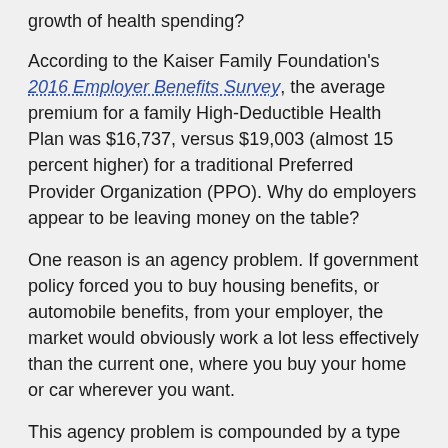growth of health spending?
According to the Kaiser Family Foundation's 2016 Employer Benefits Survey, the average premium for a family High-Deductible Health Plan was $16,737, versus $19,003 (almost 15 percent higher) for a traditional Preferred Provider Organization (PPO). Why do employers appear to be leaving money on the table?
One reason is an agency problem. If government policy forced you to buy housing benefits, or automobile benefits, from your employer, the market would obviously work a lot less effectively than the current one, where you buy your home or car wherever you want.
This agency problem is compounded by a type of money illusion: People believe their employers pay most of their health benefits. Employers believe the same thing, even